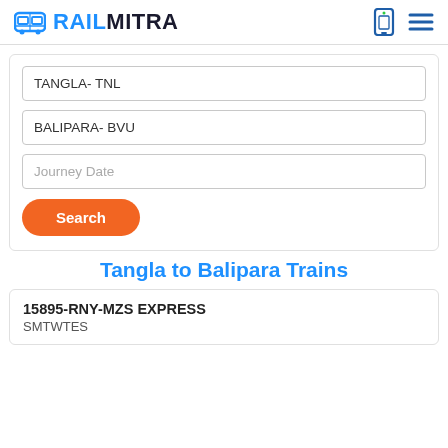RAILMITRA
TANGLA- TNL
BALIPARA- BVU
Journey Date
Search
Tangla to Balipara Trains
15895-RNY-MZS EXPRESS
SMTWTES